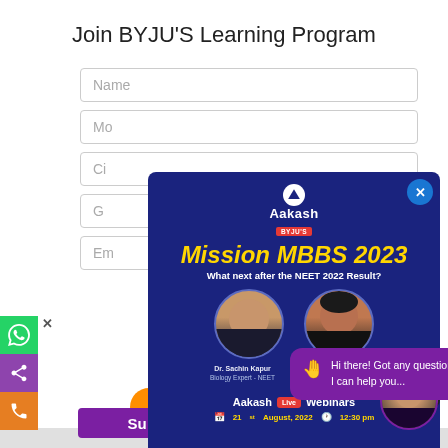Join BYJU'S Learning Program
Name
Mo
Ci
G
Em
[Figure (screenshot): Aakash BYJU'S popup ad for Mission MBBS 2023 webinar. Dark blue background with yellow heading 'Mission MBBS 2023', subtitle 'What next after the NEET 2022 Result?', photos of Dr. Sachin Kapur and Dr. Pankhuri Miglani, 'Aakash Live Webinars' text, date 21st August 2022 at 12:30 pm, and a close (X) button.]
Hi there! Got any questions? I can help you...
Reg
Su